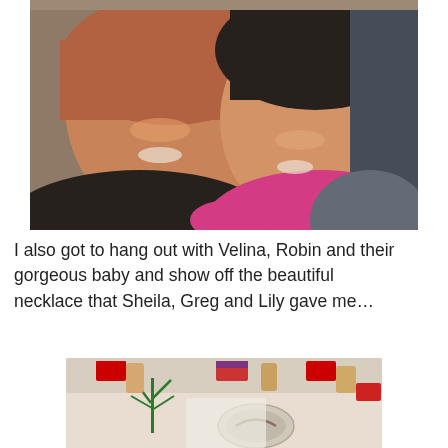[Figure (photo): Two women smiling closely together for a selfie. The woman on the left has reddish-brown hair and wears a black top; the woman on the right has dark black hair with bangs and wears a pink top with a gray jacket.]
I also got to hang out with Velina, Robin and their gorgeous baby and show off the beautiful necklace that Sheila, Greg and Lily gave me…
[Figure (photo): Close-up photo of fingernails painted with small flag designs including Chinese and American flags, with a potted plant visible in the background.]